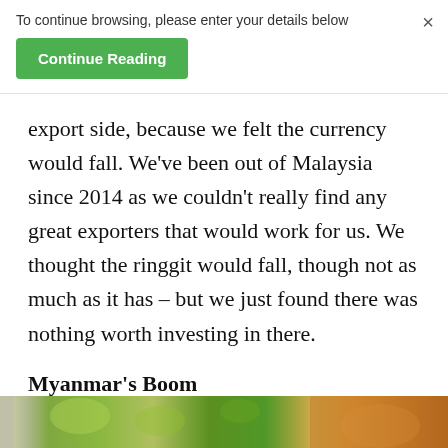To continue browsing, please enter your details below
Continue Reading
export side, because we felt the currency would fall. We've been out of Malaysia since 2014 as we couldn't really find any great exporters that would work for us. We thought the ringgit would fall, though not as much as it has – but we just found there was nothing worth investing in there.
Myanmar's Boom
[Figure (photo): Partial photo of a market or agricultural scene with green and orange tones, partially visible at bottom of page]